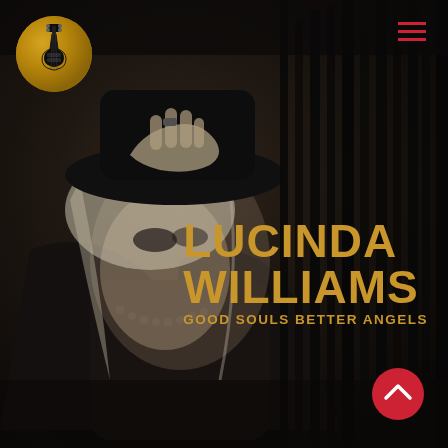[Figure (photo): Black and white photo of Lucinda Williams wearing black hat and beaded necklace, hand raised to forehead, with dark fringed background. Dark, moody album cover aesthetic.]
[Figure (logo): Circular logo with gold/brown background and black electric guitar (Stratocaster style) silhouette in center]
[Figure (other): Hamburger menu icon made of three red horizontal lines in top right corner]
LUCINDA WILLIAMS
GOOD SOULS BETTER ANGELS
[Figure (other): Red circular scroll-up button with white upward chevron arrow, bottom right corner]